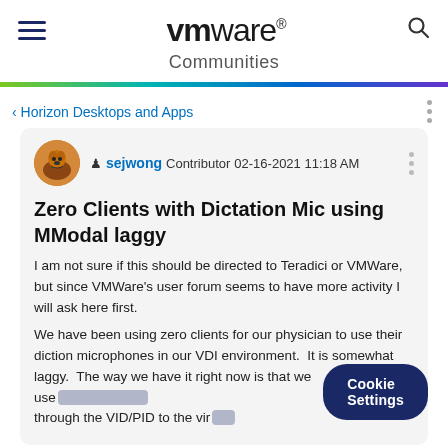VMware Communities
Horizon Desktops and Apps
Zero Clients with Dictation Mic using MModal laggy
I am not sure if this should be directed to Teradici or VMWare, but since VMWare's user forum seems to have more activity I will ask here first.
We have been using zero clients for our physician to use their diction microphones in our VDI environment.  It is somewhat laggy.  The way we have it right now is that we use through the VID/PID to the virt
Cookie Settings